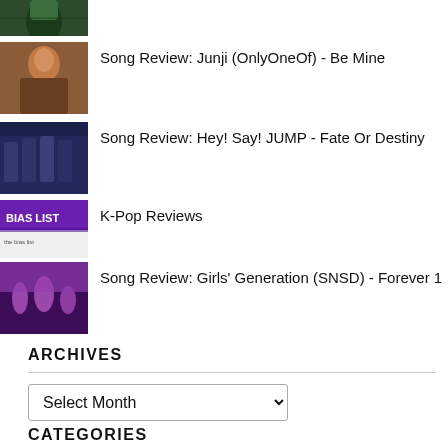[Figure (photo): Small thumbnail image, dark green tones, person partially visible]
[Figure (photo): Small thumbnail image, warm tones, person with reddish hair]
Song Review: Junji (OnlyOneOf) - Be Mine
[Figure (photo): Small thumbnail image, group of people in dark clothing]
Song Review: Hey! Say! JUMP - Fate Or Destiny
[Figure (photo): Small thumbnail image, purple BIAS LIST graphic]
K-Pop Reviews
[Figure (photo): Small thumbnail image, colorful concert scene with purple tones]
Song Review: Girls' Generation (SNSD) - Forever 1
ARCHIVES
Select Month
CATEGORIES